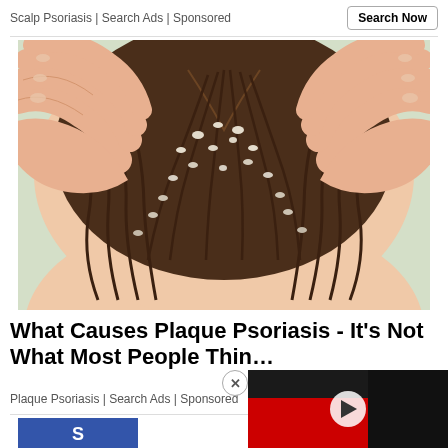Scalp Psoriasis | Search Ads | Sponsored
Search Now
[Figure (illustration): Illustrated image of two hands parting dark hair to reveal scalp with white flaky plaques, depicting scalp psoriasis symptoms.]
What Causes Plaque Psoriasis - It’s Not What Most People Thin…
Plaque Psoriasis | Search Ads | Sponsored
[Figure (screenshot): Video overlay showing a dark room with red elements and a play button, partially overlapping the article text.]
[Figure (photo): Partial view of a blue bag with white logo at the bottom of the page.]